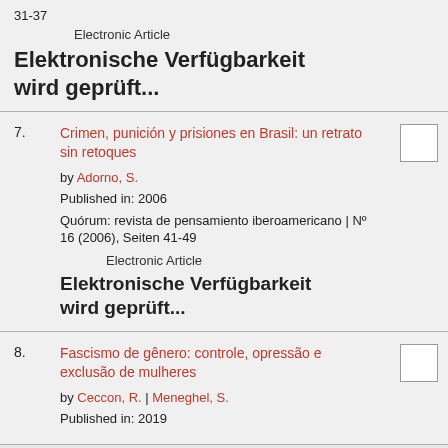31-37
Electronic Article
Elektronische Verfügbarkeit wird geprüft...
7. Crimen, punición y prisiones en Brasil: un retrato sin retoques
by Adorno, S.
Published in: 2006
Quórum: revista de pensamiento iberoamericano | Nº 16 (2006), Seiten 41-49
Electronic Article
Elektronische Verfügbarkeit wird geprüft...
8. Fascismo de gênero: controle, opressão e exclusão de mulheres
by Ceccon, R. | Meneghel, S.
Published in: 2019